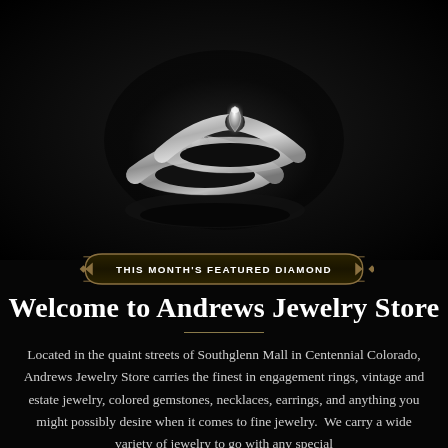[Figure (photo): Two silver diamond engagement rings on a dark reflective black background, one with a pear-shaped diamond and one with a round brilliant diamond.]
THIS MONTH'S FEATURED DIAMOND
Welcome to Andrews Jewelry Store
Located in the quaint streets of Southglenn Mall in Centennial Colorado, Andrews Jewelry Store carries the finest in engagement rings, vintage and estate jewelry, colored gemstones, necklaces, earrings, and anything you might possibly desire when it comes to fine jewelry.  We carry a wide variety of jewelry to go with any special